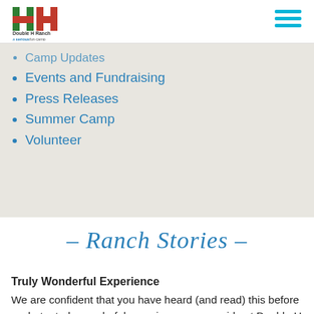[Figure (logo): Double H Ranch logo - green and orange H letters with text 'Double H Ranch, a seriousfun camp']
[Figure (other): Hamburger menu icon with three horizontal cyan/blue lines]
Camp Updates
Events and Fundraising
Press Releases
Summer Camp
Volunteer
– Ranch Stories –
Truly Wonderful Experience
We are confident that you have heard (and read) this before – what a truly wonderful experience you provide at Double H Ranch! We just wanted to take a moment and express our